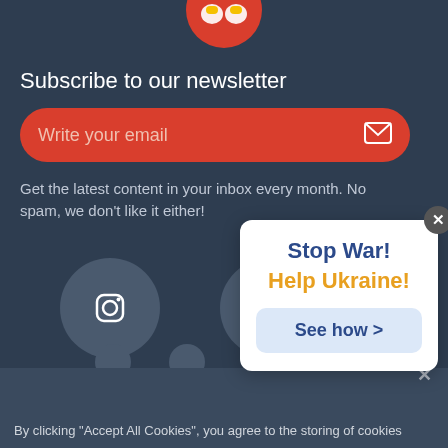[Figure (logo): Partial logo at top center, red circular background with yellow and white elements]
Subscribe to our newsletter
[Figure (screenshot): Red rounded email input field with placeholder text 'Write your email' and envelope icon on right]
Get the latest content in your inbox every month. No spam, we don't like it either!
[Figure (other): Instagram and Facebook social media icon circles in blue-grey color]
[Figure (other): Popup overlay with 'Stop War! Help Ukraine!' message and 'See how >' button]
By clicking "Accept All Cookies", you agree to the storing of cookies